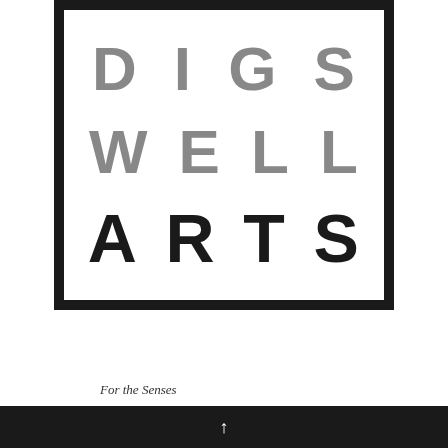[Figure (logo): Digswell Arts logo: a rectangular box with thick black border containing three rows of large letters — 'D I G S' in grey, 'W E L L' in grey, 'A R T S' in black]
For the Senses
↑